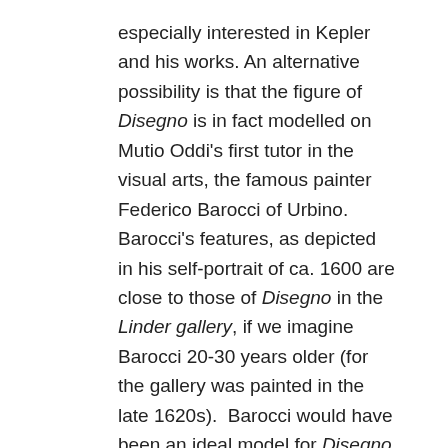especially interested in Kepler and his works. An alternative possibility is that the figure of Disegno is in fact modelled on Mutio Oddi's first tutor in the visual arts, the famous painter Federico Barocci of Urbino. Barocci's features, as depicted in his self-portrait of ca. 1600 are close to those of Disegno in the Linder gallery, if we imagine Barocci 20-30 years older (for the gallery was painted in the late 1620s). Barocci would have been an ideal model for Disegno – he was internationally renowned as a master of design and was the brother of the celebrated mathematical instrument maker, Simone Barocci, whose works Oddi distributed in Milan to patrons and friends – including Linder. In fact, as Ian Verstegen has shown in a recent article, Federico used his brother's instruments (notably the reduction compass) in making his drawings and paintings. The Baroccis could be thought of…